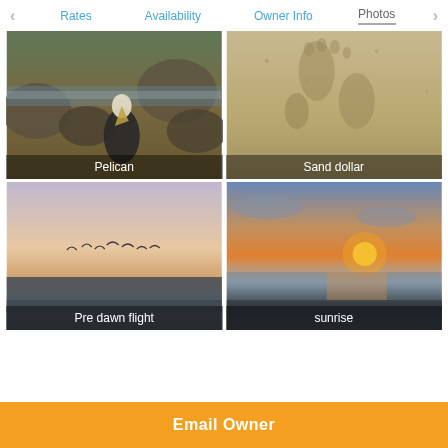< Rates  Availability  Owner Info  Photos >
[Figure (photo): Pelican bird among rocks at the beach, with waves in background. Label: Pelican]
[Figure (photo): Close-up of sand dollar or footprints in sandy surface. Label: Sand dollar]
[Figure (photo): Pre-dawn beach scene with birds flying low over the ocean, orange-pink sky. Label: Pre dawn flight]
[Figure (photo): Sunrise over the ocean with bright orange sun near the horizon. Label: sunrise]
Email Owner